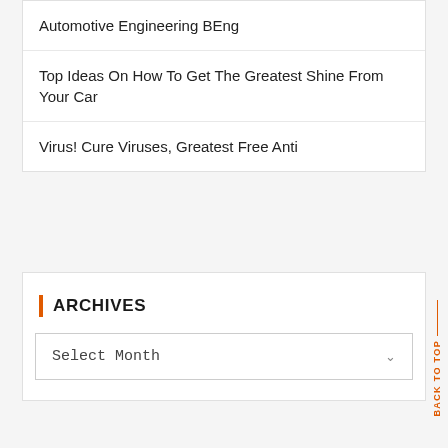Automotive Engineering BEng
Top Ideas On How To Get The Greatest Shine From Your Car
Virus! Cure Viruses, Greatest Free Anti
ARCHIVES
Select Month